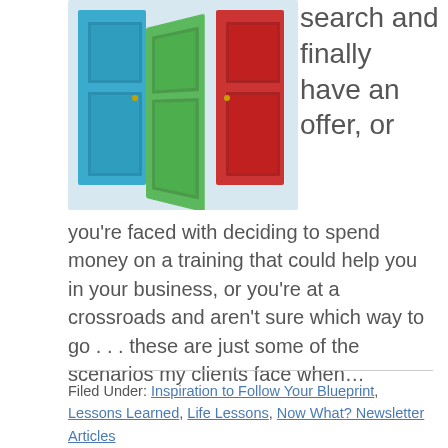[Figure (illustration): Three doors side by side: a blue door on the left (closed), a green door in the middle (open/ajar), and a red door on the right (closed), against a light blue-gray background.]
search and finally have an offer, or you're faced with deciding to spend money on a training that could help you in your business, or you're at a crossroads and aren't sure which way to go . . . these are just some of the scenarios my clients face when…
Filed Under: Inspiration to Follow Your Blueprint, Lessons Learned, Life Lessons, Now What? Newsletter Articles
Tagged With: Change, Clarity, Following your passion, Laura Berman Fortgang, life coach,